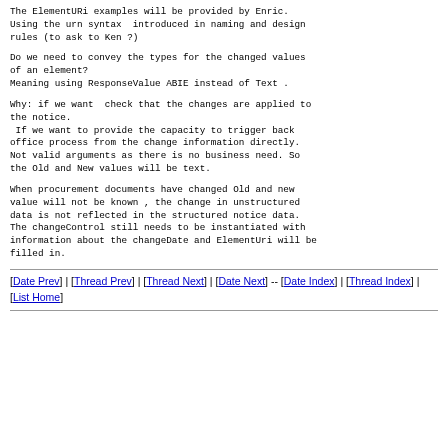The ElementURi examples will be provided by Enric.
Using the urn syntax  introduced in naming and design
rules (to ask to Ken ?)
Do we need to convey the types for the changed values
of an element?
Meaning using ResponseValue ABIE instead of Text .
Why: if we want  check that the changes are applied to
the notice.
 If we want to provide the capacity to trigger back
office process from the change information directly.
Not valid arguments as there is no business need. So
the Old and New values will be text.
When procurement documents have changed Old and new
value will not be known , the change in unstructured
data is not reflected in the structured notice data.
The changeControl still needs to be instantiated with
information about the changeDate and ElementUri will be
filled in.
[Date Prev] | [Thread Prev] | [Thread Next] | [Date Next] -- [Date Index] | [Thread Index] | [List Home]